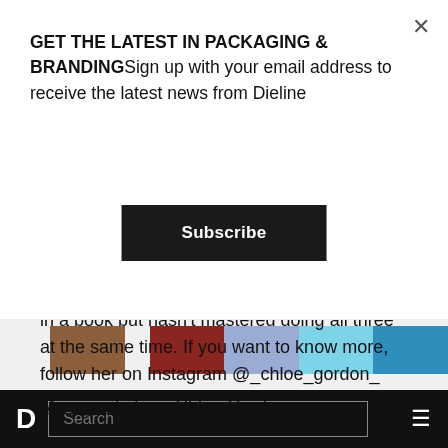GET THE LATEST IN PACKAGING & BRANDINGSign up with your email address to receive the latest news from Dieline
Subscribe
charcuterie boards, and always has her nose in a book but hasn't mastered doing all three at the same time. If you want to know more, follow her on Instagram @_chloe_gordon_
More posts from Chloe Gordon
[Figure (other): Color swatch bar showing five color blocks: brown, dark red, light blue/periwinkle, sky blue, and medium blue, on a light gray background]
D  Search  ≡